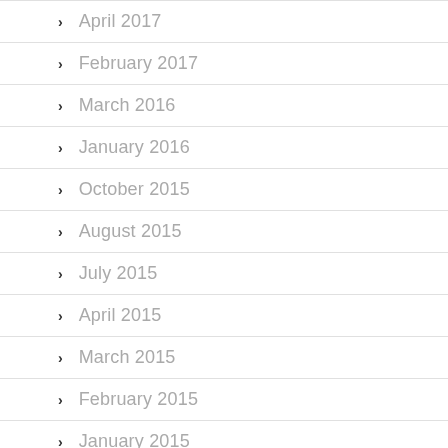April 2017
February 2017
March 2016
January 2016
October 2015
August 2015
July 2015
April 2015
March 2015
February 2015
January 2015